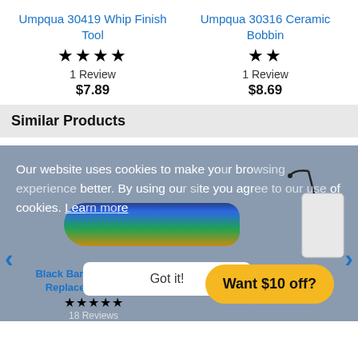Umpqua 30419 Whip Finish Tool
★★★★ 1 Review $7.89
Umpqua 30316 Ceramic Bobbin
★★ 1 Review $8.69
Similar Products
Our website uses cookies to make your browsing experience better. By using our site you agree to our use of cookies. Learn more
Black Bart S6 15in Lure Replacement Skirts
18 Reviews
Storm Buster Jacket
7 Reviews $29.95
Got it!
Want $10 off?